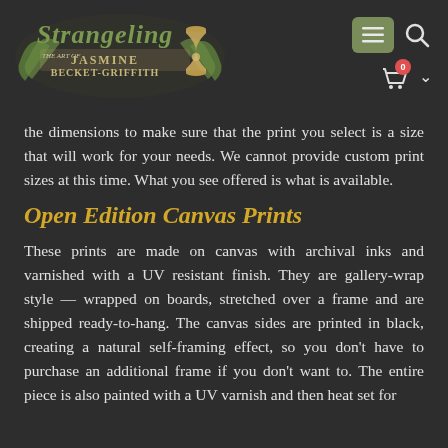Strangeling - The Art of Jasmine Becket-Griffith [navigation header with logo, menu, search, and cart icons]
the dimensions to make sure that the print you select is a size that will work for your needs. We cannot provide custom print sizes at this time. What you see offered is what is available.
Open Edition Canvas Prints
These prints are made on canvas with archival inks and varnished with a UV resistant finish. They are gallery-wrap style — wrapped on boards, stretched over a frame and are shipped ready-to-hang. The canvas sides are printed in black, creating a natural self-framing effect, so you don't have to purchase an additional frame if you don't want to. The entire piece is also painted with a UV varnish and then heat set for